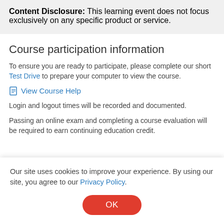Content Disclosure: This learning event does not focus exclusively on any specific product or service.
Course participation information
To ensure you are ready to participate, please complete our short Test Drive to prepare your computer to view the course.
View Course Help
Login and logout times will be recorded and documented.
Passing an online exam and completing a course evaluation will be required to earn continuing education credit.
Our site uses cookies to improve your experience. By using our site, you agree to our Privacy Policy.